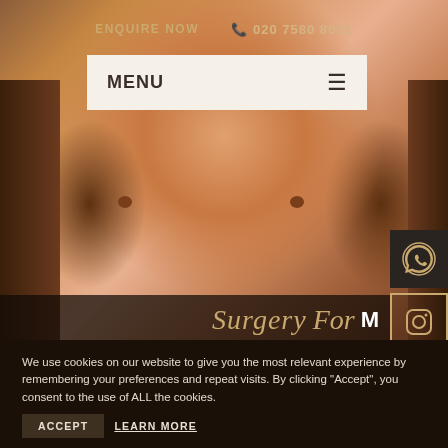ENQUIRE NOW  ☎ 020 7580 8001
MENU ☰
[Figure (photo): Close-up photo of a male torso/chest, dark-skinned, used as hero image for a surgery-for-men medical website]
Surgery For Men
We use cookies on our website to give you the most relevant experience by remembering your preferences and repeat visits. By clicking “Accept”, you consent to the use of ALL the cookies.
ACCEPT    LEARN MORE